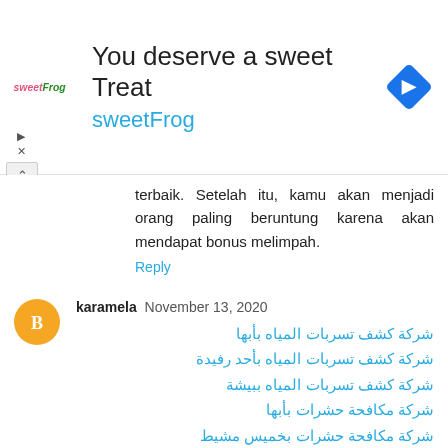[Figure (screenshot): SweetFrog advertisement banner with logo, tagline 'You deserve a sweet Treat', brand name 'sweetFrog', and a blue diamond navigation icon]
terbaik. Setelah itu, kamu akan menjadi orang paling beruntung karena akan mendapat bonus melimpah.
Reply
karamela November 13, 2020
شركة كشف تسربات المياه بأبها
شركة كشف تسربات المياه بأحد رفيدة
شركة كشف تسربات المياه ببيشة
شركة مكافحة حشرات بأبها
شركة مكافحة حشرات بخميس مشيط
شركة مكافحة حشرات بوادي بن هشبل
Reply
ETHAN ALEXANDER November 24, 2020